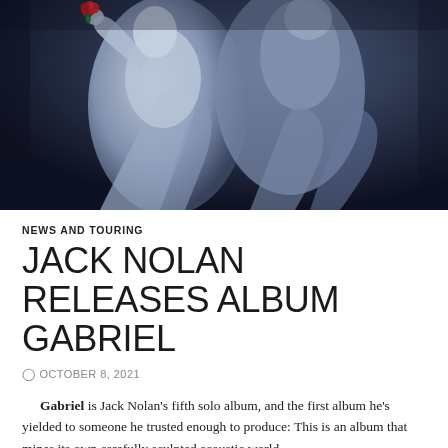[Figure (photo): Dark blue-tinted photograph of a classical stone angel statue holding a red rose, set against a dark background. The sculpture shows two figures draped in flowing robes.]
NEWS AND TOURING
JACK NOLAN RELEASES ALBUM GABRIEL
OCTOBER 8, 2021
Gabriel is Jack Nolan's fifth solo album, and the first album he's yielded to someone he trusted enough to produce: This is an album that mines its own carefully sculpted acoustic world